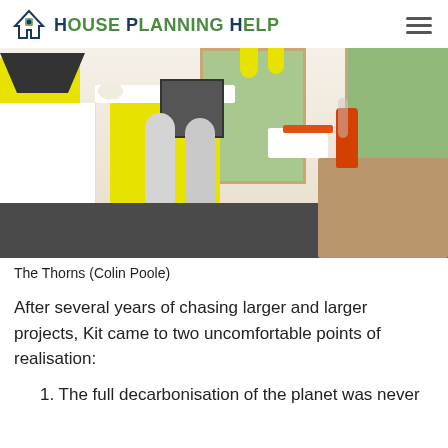House Planning Help
[Figure (photo): Interior photo of a modern kitchen with yellow accents, white cabinets, a kitchen island with yellow base and bar stools, an oven, large windows opening to a garden, and a dining table with orange vase and plates in the foreground.]
The Thorns (Colin Poole)
After several years of chasing larger and larger projects, Kit came to two uncomfortable points of realisation:
1. The full decarbonisation of the planet was never